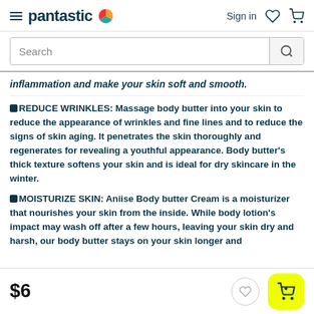pantastic — Sign in
[Figure (screenshot): Search bar with magnifying glass icon]
inflammation and make your skin soft and smooth.
✔REDUCE WRINKLES: Massage body butter into your skin to reduce the appearance of wrinkles and fine lines and to reduce the signs of skin aging. It penetrates the skin thoroughly and regenerates for revealing a youthful appearance. Body butter's thick texture softens your skin and is ideal for dry skincare in the winter.
✔MOISTURIZE SKIN: Aniise Body butter Cream is a moisturizer that nourishes your skin from the inside. While body lotion's impact may wash off after a few hours, leaving your skin dry and harsh, our body butter stays on your skin longer and
$6